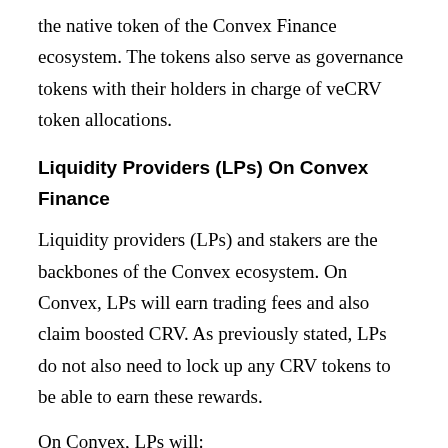the native token of the Convex Finance ecosystem. The tokens also serve as governance tokens with their holders in charge of veCRV token allocations.
Liquidity Providers (LPs) On Convex Finance
Liquidity providers (LPs) and stakers are the backbones of the Convex ecosystem. On Convex, LPs will earn trading fees and also claim boosted CRV. As previously stated, LPs do not also need to lock up any CRV tokens to be able to earn these rewards.
On Convex, LPs will:
1. Earn CVX tokens as rewards.